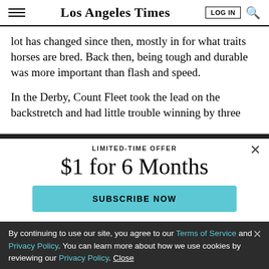Los Angeles Times
lot has changed since then, mostly in for what traits horses are bred. Back then, being tough and durable was more important than flash and speed.
In the Derby, Count Fleet took the lead on the backstretch and had little trouble winning by three
LIMITED-TIME OFFER
$1 for 6 Months
SUBSCRIBE NOW
By continuing to use our site, you agree to our Terms of Service and Privacy Policy. You can learn more about how we use cookies by reviewing our Privacy Policy. Close